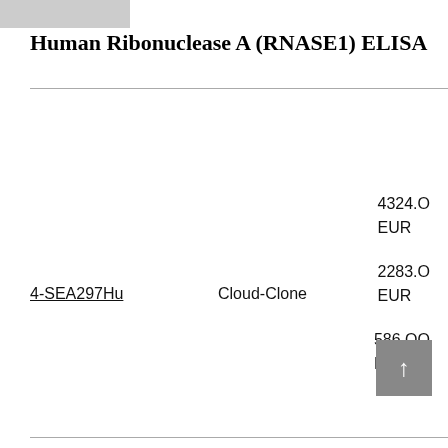Human Ribonuclease A (RNASE1) ELISA
4324.00 EUR
2283.00 EUR
4-SEA297Hu
Cloud-Clone
586.00 EUR